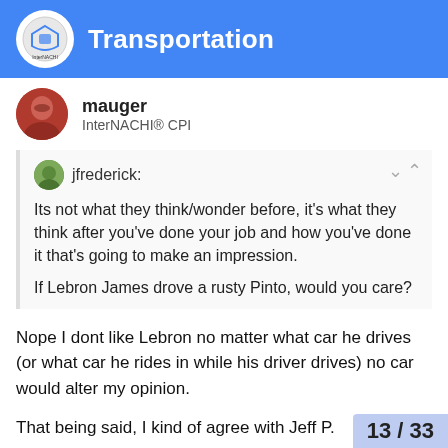Transportation
mauger
InterNACHI® CPI
jfrederick:
Its not what they think/wonder before, it's what they think after you've done your job and how you've done it that's going to make an impression.
If Lebron James drove a rusty Pinto, would you care?
Nope I dont like Lebron no matter what car he drives (or what car he rides in while his driver drives) no car would alter my opinion.
That being said, I kind of agree with Jeff P.
My cousin is a landscaper, and his car is a little sporty convertable audi. He knows for a fact he has rolled up in that to estimate jobs and lost them because the p car instead of a work vehicle and likely tho
13 / 33